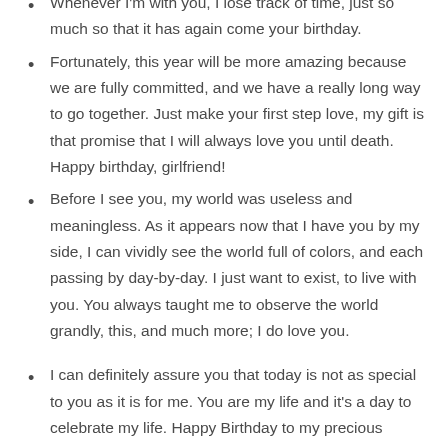Whenever I'm with you, I lose track of time, just so much so that it has again come your birthday.
Fortunately, this year will be more amazing because we are fully committed, and we have a really long way to go together. Just make your first step love, my gift is that promise that I will always love you until death. Happy birthday, girlfriend!
Before I see you, my world was useless and meaningless. As it appears now that I have you by my side, I can vividly see the world full of colors, and each passing by day-by-day. I just want to exist, to live with you. You always taught me to observe the world grandly, this, and much more; I do love you.
I can definitely assure you that today is not as special to you as it is for me. You are my life and it's a day to celebrate my life. Happy Birthday to my precious girlfriend!
Long before I approached you, I always had this dream of